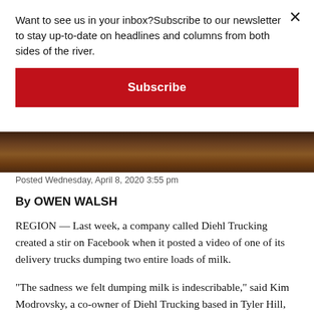Want to see us in your inbox?Subscribe to our newsletter to stay up-to-date on headlines and columns from both sides of the river.
Subscribe
[Figure (photo): A dark outdoor photo strip showing a partial image, likely related to the milk dumping story]
Posted Wednesday, April 8, 2020 3:55 pm
By OWEN WALSH
REGION — Last week, a company called Diehl Trucking created a stir on Facebook when it posted a video of one of its delivery trucks dumping two entire loads of milk.
“The sadness we felt dumping milk is indescribable,” said Kim Modrovsky, a co-owner of Diehl Trucking based in Tyler Hill, PA. “Many of the farmers whose milk was on